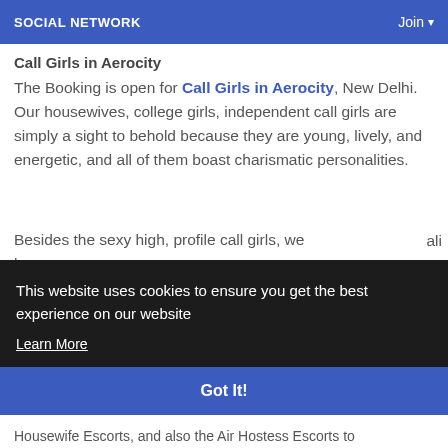SOCIAL NETWORK   Join
Call Girls in Aerocity
The Booking is open for Call Girls in Aerocity, New Delhi. Our housewives, college girls, independent call girls are simply a sight to behold because they are young, lively, and energetic, and all of them boast charismatic personalities.
Besides the sexy high, profile call girls, we have
This website uses cookies to ensure you get the best experience on our website
Learn More
Got It!
Housewife Escorts, and also the Air Hostess Escorts to